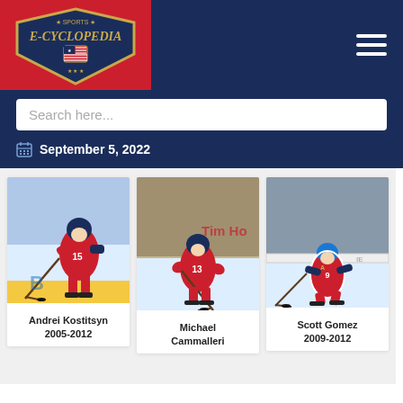Sports E-Cyclopedia
Search here...
September 5, 2022
[Figure (photo): Hockey player Andrei Kostitsyn in Montreal Canadiens red uniform skating with puck]
Andrei Kostitsyn
2005-2012
[Figure (photo): Hockey player Michael Cammalleri in Montreal Canadiens uniform number 13 skating]
Michael Cammalleri
[Figure (photo): Hockey player Scott Gomez in Montreal Canadiens uniform skating on ice]
Scott Gomez
2009-2012